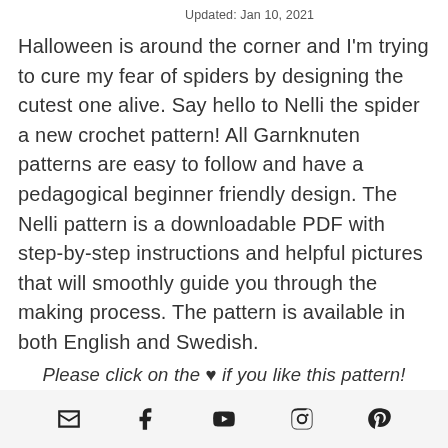Updated: Jan 10, 2021
Halloween is around the corner and I'm trying to cure my fear of spiders by designing the cutest one alive. Say hello to Nelli the spider a new crochet pattern! All Garnknuten patterns are easy to follow and have a pedagogical beginner friendly design. The Nelli pattern is a downloadable PDF with step-by-step instructions and helpful pictures that will smoothly guide you through the making process. The pattern is available in both English and Swedish.
Please click on the ♥ if you like this pattern!
[Figure (infographic): Footer bar with social media icons: email envelope, Facebook, YouTube play button, Instagram, Pinterest]